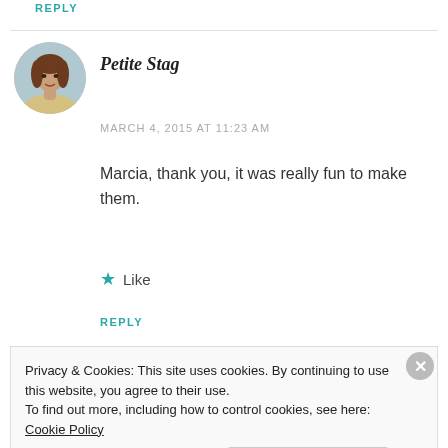REPLY
[Figure (photo): Circular avatar photo of a young woman with brown hair]
Petite Stag
MARCH 4, 2015 AT 11:23 AM
Marcia, thank you, it was really fun to make them.
★ Like
REPLY
Privacy & Cookies: This site uses cookies. By continuing to use this website, you agree to their use. To find out more, including how to control cookies, see here: Cookie Policy
Close and accept